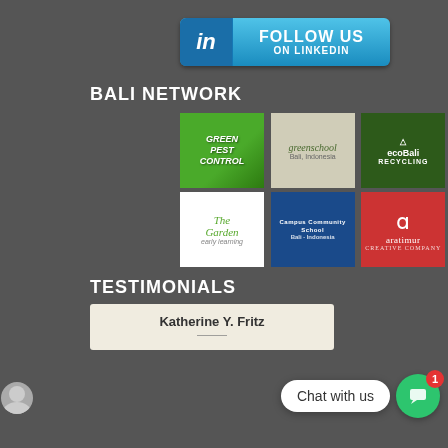[Figure (logo): LinkedIn Follow Us button - blue gradient button with 'in' icon and text 'FOLLOW US ON LINKEDIN']
BALI NETWORK
[Figure (infographic): Grid of 6 company logos: Green Pest Control, Greenschool Bali Indonesia, ecoBali Recycling, The Garden early learning, Campus Community School Bali Indonesia, Aratimur Creative Company]
TESTIMONIALS
[Figure (screenshot): Chat with us popup overlay with green chat button showing notification badge '1']
Katherine Y. Fritz